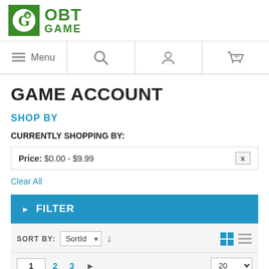[Figure (logo): OBT Game logo with green background icon on left and green text OBT GAME on right]
Menu | Search | Account | Cart
GAME ACCOUNT
SHOP BY
CURRENTLY SHOPPING BY:
Price: $0.00 - $9.99  X
Clear All
▶ FILTER
SORT BY: SortId ▾  ↓
1  2  3  ▶                          20 ▾